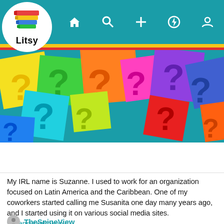[Figure (screenshot): Litsy app logo with colorful stacked books icon and 'Litsy' text in white circle, navigation bar with home, search, plus, activity, and profile icons on teal background]
[Figure (photo): Colorful question marks on colored paper squares scattered as banner image]
My IRL name is Suzanne. I used to work for an organization focused on Latin America and the Caribbean. One of my coworkers started calling me Susanita one day many years ago, and I started using it on various social media sites. #littenswanttoknow
By the way, you never know what you might find when looking for books with your username in the title. 😊
TheSpineView